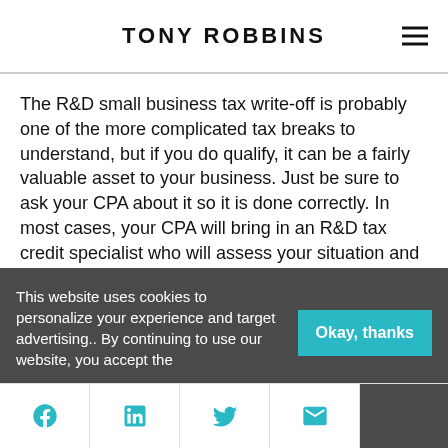TONY ROBBINS
The R&D small business tax write-off is probably one of the more complicated tax breaks to understand, but if you do qualify, it can be a fairly valuable asset to your business. Just be sure to ask your CPA about it so it is done correctly. In most cases, your CPA will bring in an R&D tax credit specialist who will assess your situation and create a detailed report as to why you qualify.
This website uses cookies to personalize your experience and target advertising.. By continuing to use our website, you accept the